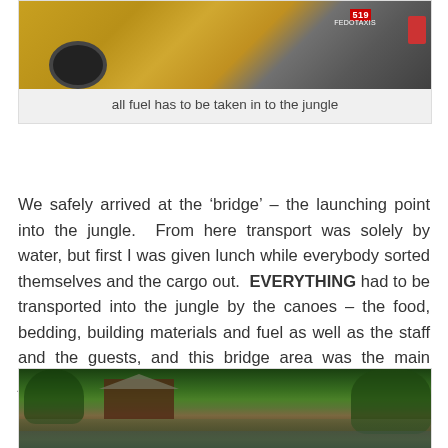[Figure (photo): Yellow taxi truck partially visible, with red FEDOTAXIS branding text on the side, parked on a dirt road]
all fuel has to be taken in to the jungle
We safely arrived at the ‘bridge’ – the launching point into the jungle.  From here transport was solely by water, but first I was given lunch while everybody sorted themselves and the cargo out.  EVERYTHING had to be transported into the jungle by the canoes – the food, bedding, building materials and fuel as well as the staff and the guests, and this bridge area was the main jumping off point for all the lodges in this region so it was quite a hive of activity.
[Figure (photo): A jungle river scene with buildings visible among lush green tropical trees, with a boat on the water in the foreground]